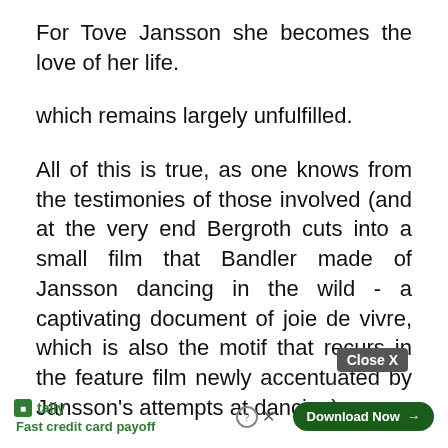For Tove Jansson she becomes the love of her life.
which remains largely unfulfilled.
All of this is true, as one knows from the testimonies of those involved (and at the very end Bergroth cuts into a small film that Bandler made of Jansson dancing in the wild - a captivating document of joie de vivre, which is also the motif that recurs in the feature film newly accentuated by Jansson's attempts at dancing).
And all of this is performed by a tri[Close X]ate of actors[Tally ad]role betw[...] oney